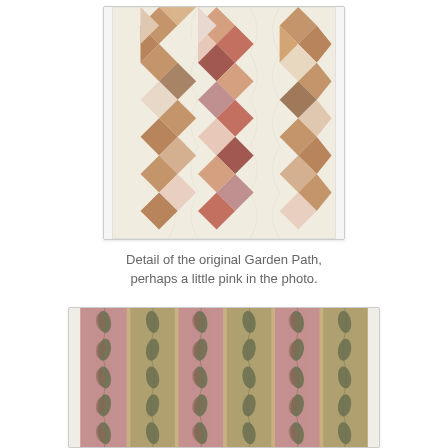[Figure (photo): Close-up detail of a Garden Path quilt showing diamond-shaped patchwork blocks in cream, brown, pink, and floral fabrics arranged in diagonal patterns with cream sashing strips]
Detail of the original Garden Path, perhaps a little pink in the photo.
[Figure (photo): Fabric swatch showing a striped botanical print with alternating pink/mauve and tan/khaki vertical stripes featuring leaf and vine motifs]